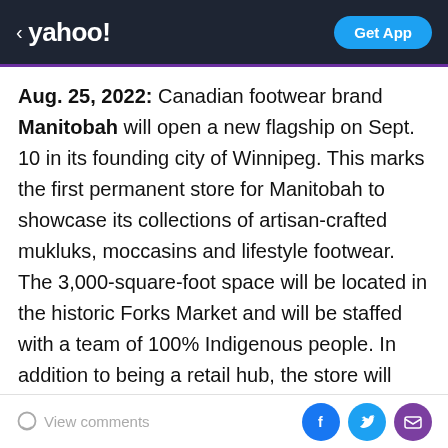< yahoo! | Get App
Aug. 25, 2022: Canadian footwear brand Manitobah will open a new flagship on Sept. 10 in its founding city of Winnipeg. This marks the first permanent store for Manitobah to showcase its collections of artisan-crafted mukluks, moccasins and lifestyle footwear. The 3,000-square-foot space will be located in the historic Forks Market and will be staffed with a team of 100% Indigenous people. In addition to being a retail hub, the store will serve as a community space to host workshops, activations, beading circles and more. It also will stock other artisan merchandise in its Indigenous Market. Sean McCormick, Manitobah's founder and chief impact officer, said in a statement, “I'm thrilled that the new
View comments | Facebook | Twitter | Email